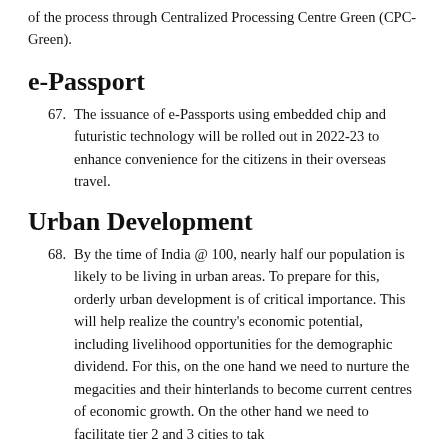of the process through Centralized Processing Centre Green (CPC-Green).
e-Passport
67. The issuance of e-Passports using embedded chip and futuristic technology will be rolled out in 2022-23 to enhance convenience for the citizens in their overseas travel.
Urban Development
68. By the time of India @ 100, nearly half our population is likely to be living in urban areas. To prepare for this, orderly urban development is of critical importance. This will help realize the country's economic potential, including livelihood opportunities for the demographic dividend. For this, on the one hand we need to nurture the megacities and their hinterlands to become current centres of economic growth. On the other hand we need to facilitate tier 2 and 3 cities to tak...